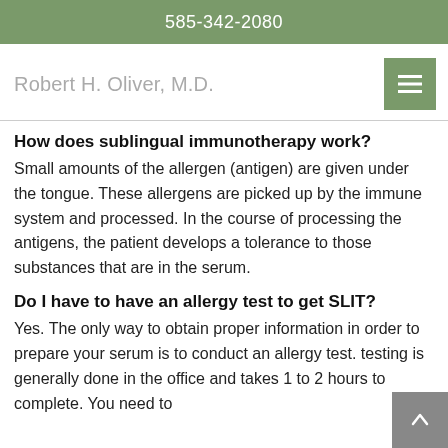585-342-2080
Robert H. Oliver, M.D.
How does sublingual immunotherapy work?
Small amounts of the allergen (antigen) are given under the tongue. These allergens are picked up by the immune system and processed. In the course of processing the antigens, the patient develops a tolerance to those substances that are in the serum.
Do I have to have an allergy test to get SLIT?
Yes. The only way to obtain proper information in order to prepare your serum is to conduct an allergy test. testing is generally done in the office and takes 1 to 2 hours to complete. You need to